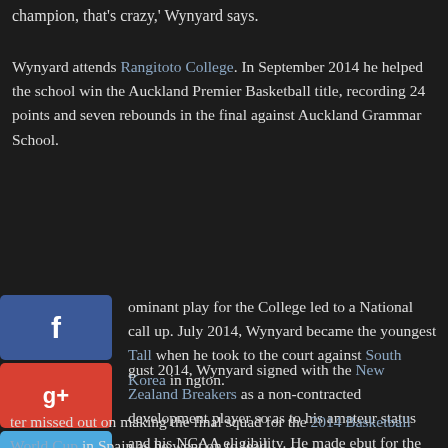champion, that's crazy,' Wynyard says.
Wynyard attends Rangitoto College. In September 2014 he helped the school win the Auckland Premier Basketball title, recording 24 points and seven rebounds in the final against Auckland Grammar School.
[Figure (infographic): Social media share buttons: Facebook, Google+, Twitter, Pinterest, Blogger, More (...)]
ominant play for the College led to a National call up. July 2014, Wynyard became the youngest Tall when he took to the court against South Korea in ngton.
gust 2014, Wynyard signed with the New Zealand Breakers as a non-contracted development player so as to his amateur status and his NCAA eligibility. He made ebut for the Breakers in just the second game of the n against the Adelaide 36ers.
ter missed out on making the final squad for the 2014 Basketball World Cup in Spain as he went on to lead the Tall Blacks...